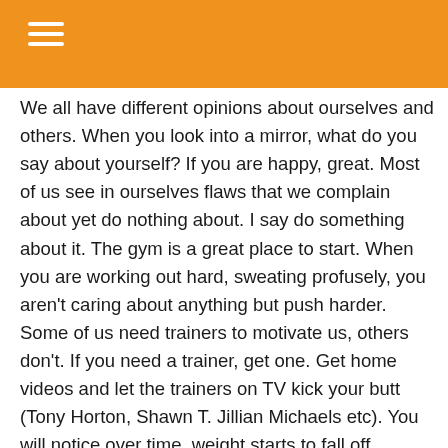We all have different opinions about ourselves and others. When you look into a mirror, what do you say about yourself? If you are happy, great. Most of us see in ourselves flaws that we complain about yet do nothing about. I say do something about it. The gym is a great place to start. When you are working out hard, sweating profusely, you aren't caring about anything but push harder. Some of us need trainers to motivate us, others don't. If you need a trainer, get one. Get home videos and let the trainers on TV kick your butt (Tony Horton, Shawn T. Jillian Michaels etc). You will notice over time, weight starts to fall off, confidence builds and you will start craving the gym. With improved confidence, you will appreciate and love yourself more, which will help others do the same. If you are single, confidence attracts, period. If you are married, working out can help get that husband or wife in better shape and back to where you were in your 20's, no more explanation needed.
Summary: Working out builds confidence, improves weight loss and